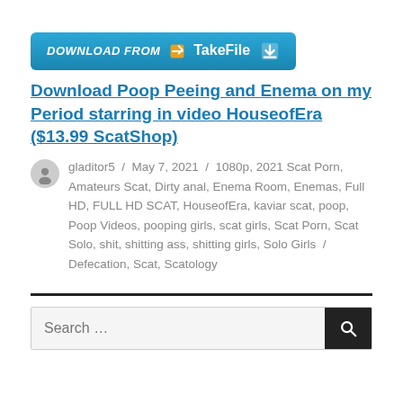[Figure (other): Download from TakeFile button with blue gradient background, share icon, and download arrow]
Download Poop Peeing and Enema on my Period starring in video HouseofEra ($13.99 ScatShop)
gladitor5 / May 7, 2021 / 1080p, 2021 Scat Porn, Amateurs Scat, Dirty anal, Enema Room, Enemas, Full HD, FULL HD SCAT, HouseofEra, kaviar scat, poop, Poop Videos, pooping girls, scat girls, Scat Porn, Scat Solo, shit, shitting ass, shitting girls, Solo Girls / Defecation, Scat, Scatology
Search ...